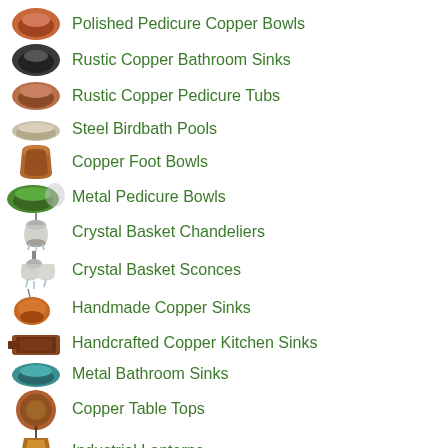Polished Pedicure Copper Bowls
Rustic Copper Bathroom Sinks
Rustic Copper Pedicure Tubs
Steel Birdbath Pools
Copper Foot Bowls
Metal Pedicure Bowls
Crystal Basket Chandeliers
Crystal Basket Sconces
Handmade Copper Sinks
Handcrafted Copper Kitchen Sinks
Metal Bathroom Sinks
Copper Table Tops
Industrial Lanterns
Copper Laptop Stands